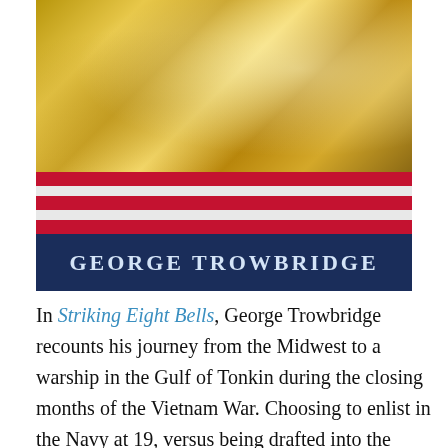[Figure (illustration): Book cover for 'Striking Eight Bells' by George Trowbridge featuring a gold/metallic texture at top, red and white horizontal stripes in the middle, and a dark navy blue band at the bottom with the author's name 'GEORGE TROWBRIDGE' in light blue capital letters.]
In Striking Eight Bells, George Trowbridge recounts his journey from the Midwest to a warship in the Gulf of Tonkin during the closing months of the Vietnam War. Choosing to enlist in the Navy at 19, versus being drafted into the military, Trowbridge left a wife and newborn son in the States as he traversed the oceans of the globe to fight in